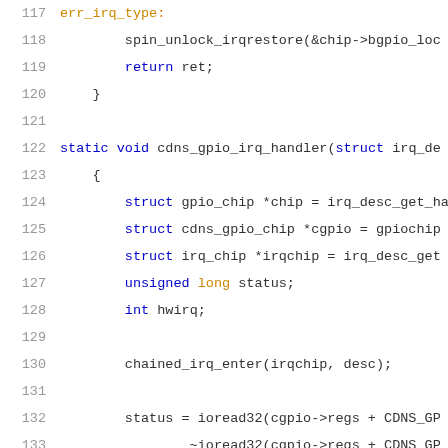[Figure (screenshot): Source code listing showing C kernel GPIO driver code, lines 117-137, with syntax highlighting. Blue for keywords, gold/olive for types and labels, black for identifiers and punctuation.]